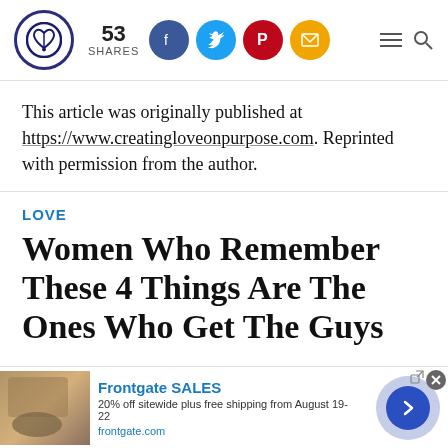53 SHARES [logo] [Facebook] [Twitter] [Pinterest] [Email] [Menu] [Search]
This article was originally published at https://www.creatingloveonpurpose.com. Reprinted with permission from the author.
LOVE
Women Who Remember These 4 Things Are The Ones Who Get The Guys
[Figure (infographic): Frontgate SALES advertisement banner: 20% off sitewide plus free shipping from August 19-22. frontgate.com. Shows outdoor furniture with fire pit image and a blue arrow button.]